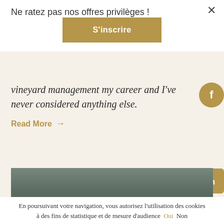Ne ratez pas nos offres privilèges !
S'inscrire
vineyard management my career and I've never considered anything else.
Read More →
[Figure (photo): Landscape photo strip showing a dark greenish outdoor vineyard or rural scene]
En poursuivant votre navigation, vous autorisez l'utilisation des cookies à des fins de statistique et de mesure d'audience  Oui  Non